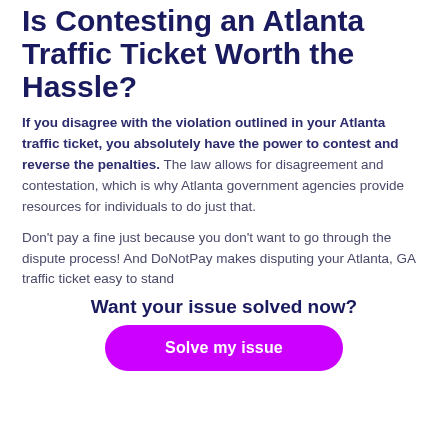Is Contesting an Atlanta Traffic Ticket Worth the Hassle?
If you disagree with the violation outlined in your Atlanta traffic ticket, you absolutely have the power to contest and reverse the penalties. The law allows for disagreement and contestation, which is why Atlanta government agencies provide resources for individuals to do just that.
Don't pay a fine just because you don't want to go through the dispute process! And DoNotPay makes disputing your Atlanta, GA traffic ticket easy to stand
Want your issue solved now?
[Figure (other): Magenta rounded button with white bold text reading 'Solve my issue']